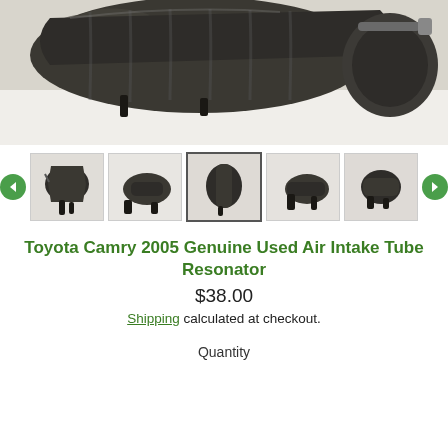[Figure (photo): Close-up photo of a Toyota Camry 2005 air intake tube resonator, showing a corrugated black rubber hose with a cylindrical connector and metal clamp.]
[Figure (photo): Thumbnail gallery of 5 product images showing the air intake tube resonator from different angles, with left and right navigation arrows.]
Toyota Camry 2005 Genuine Used Air Intake Tube Resonator
$38.00
Shipping calculated at checkout.
Quantity